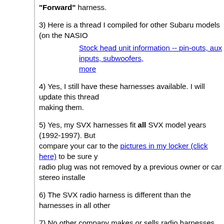"Forward" harness.
3) Here is a thread I compiled for other Subaru models (on the NASIO
Stock head unit information -- pin-outs, aux inputs, subwoofers more
4) Yes, I still have these harnesses available. I will update this thread making them.
5) Yes, my SVX harnesses fit all SVX model years (1992-1997). But compare your car to the pictures in my locker (click here) to be sure y radio plug was not removed by a previous owner or car stereo installe
6) The SVX radio harness is different than the harnesses in all other
7) No other company makes or sells radio harnesses for the SVX.
8) Because of #7, no stereo install shops will have these harnesses. to install a radio in your SVX, they will want to cut off your car's radio "hard-wire" install.
Even if you want to have a shop do the work, you'll be better off if you from me first. But take a look at my SVX Installation Guide -- you may can do it yourself. At worst, you may just need the shop to solder or c harnesses and then you do the rest. If you still want them to solder the in the highlights from the guide so they can avoid the pitfalls (opening th avoiding scratching things up, finding the antenna connectors, etc.).
9) If you're in the Atlanta area (or passing through), I'd be happy to se